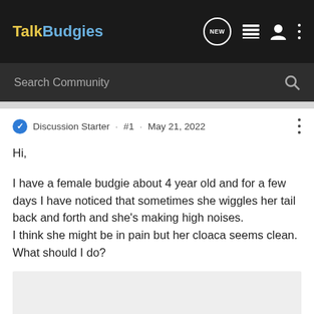TalkBudgies
Search Community
Discussion Starter · #1 · May 21, 2022
Hi,

I have a female budgie about 4 year old and for a few days I have noticed that sometimes she wiggles her tail back and forth and she's making high noises.
I think she might be in pain but her cloaca seems clean.
What should I do?
[Figure (photo): Light grey rectangular image placeholder at the bottom of the post]